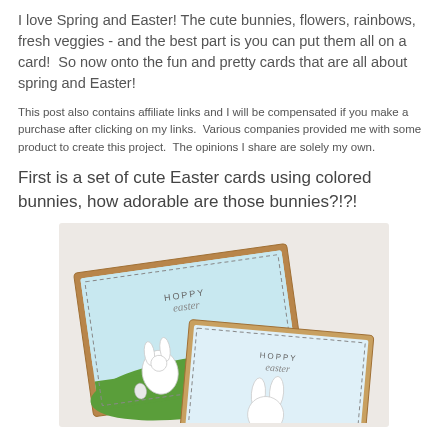I love Spring and Easter! The cute bunnies, flowers, rainbows, fresh veggies - and the best part is you can put them all on a card!  So now onto the fun and pretty cards that are all about spring and Easter!
This post also contains affiliate links and I will be compensated if you make a purchase after clicking on my links.  Various companies provided me with some product to create this project.  The opinions I share are solely my own.
First is a set of cute Easter cards using colored bunnies, how adorable are those bunnies?!?!
[Figure (photo): Photo of two handmade Easter cards with white bunnies on green grass and light blue sky background, with 'HOPPY easter' text on each card, displayed on a light beige surface.]